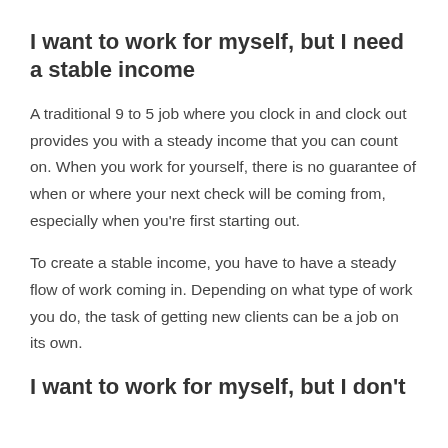I want to work for myself, but I need a stable income
A traditional 9 to 5 job where you clock in and clock out provides you with a steady income that you can count on. When you work for yourself, there is no guarantee of when or where your next check will be coming from, especially when you're first starting out.
To create a stable income, you have to have a steady flow of work coming in. Depending on what type of work you do, the task of getting new clients can be a job on its own.
I want to work for myself, but I don't